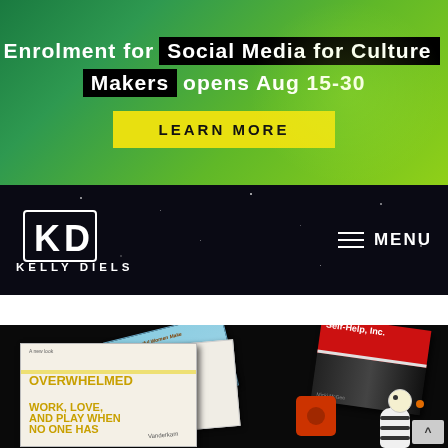Enrolment for Social Media for Culture Makers opens Aug 15-30
LEARN MORE
[Figure (logo): Kelly Diels logo — KD monogram with 'KELLY DIELS' text and MENU navigation on dark starry background]
[Figure (photo): Flat lay photograph of books on dark background including 'Overwhelmed: Work, Love and Play When No One Has the Time', 'Self-Help, Inc.' and other books, plus a red toy block and zebra toy]